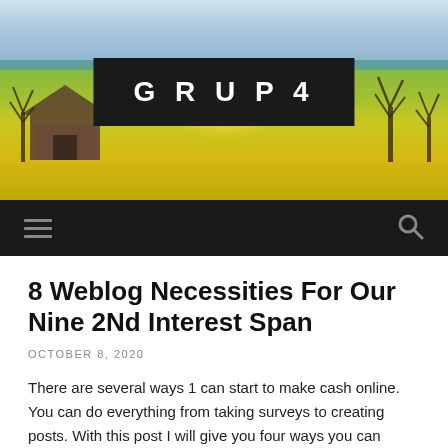[Figure (photo): Rural landscape photo with a barn, bare trees, and golden sunlit field. A dark banner overlay in the center reads GRUP4 in bold white letters.]
8 Weblog Necessities For Our Nine 2Nd Interest Span
OCTOBER 8, 2020
There are several ways 1 can start to make cash online. You can do everything from taking surveys to creating posts. With this post I will give you four ways you can begin creating money on-line.